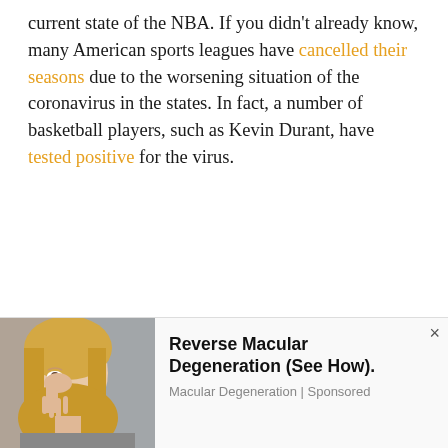current state of the NBA. If you didn't already know, many American sports leagues have cancelled their seasons due to the worsening situation of the coronavirus in the states. In fact, a number of basketball players, such as Kevin Durant, have tested positive for the virus.
[Figure (illustration): Olympic rings logo: five interlocking rings in blue, black, red, yellow, and green colors]
[Figure (photo): Advertisement banner showing a blonde woman touching her eye, with text about Macular Degeneration treatment]